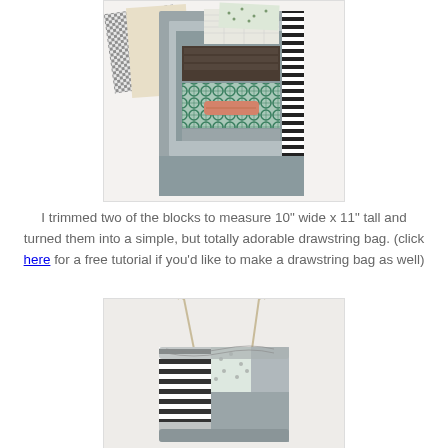[Figure (photo): Photo of quilt fabric blocks arranged on a light gray/white background. Various patterned fabrics including black and white stripes, geometric patterns, teal lattice, and gray solid fabrics layered together.]
I trimmed two of the blocks to measure 10" wide x 11" tall and turned them into a simple, but totally adorable drawstring bag. (click here for a free tutorial if you'd like to make a drawstring bag as well)
[Figure (photo): Photo of a completed drawstring bag made from patchwork quilt blocks with black and white striped, gray, and printed fabrics. Natural cord drawstrings visible at top.]